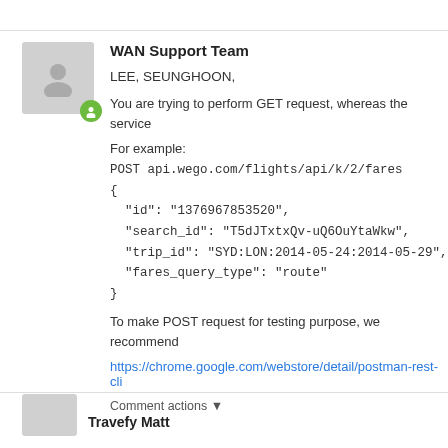WAN Support Team
LEE, SEUNGHOON,
You are trying to perform GET request, whereas the service
For example:
POST api.wego.com/flights/api/k/2/fares
{
"id": "1376967853520",
"search_id": "T5dJTxtxQv-uQ6OuYtaWkw",
"trip_id": "SYD:LON:2014-05-24:2014-05-29",
"fares_query_type": "route"
}
To make POST request for testing purpose, we recommend
https://chrome.google.com/webstore/detail/postman-rest-cli
Comment actions ▼
Travefy Matt